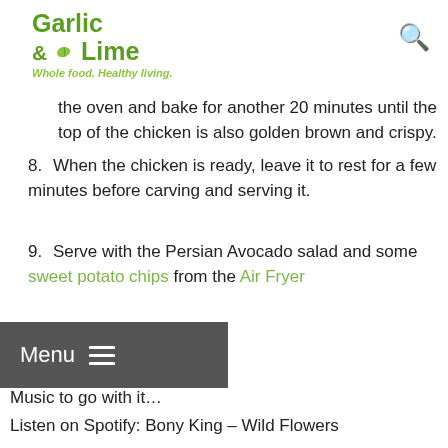Garlic & Lime — Whole food. Healthy living.
…the oven and bake for another 20 minutes until the top of the chicken is also golden brown and crispy.
8. When the chicken is ready, leave it to rest for a few minutes before carving and serving it.
9. Serve with the Persian Avocado salad and some sweet potato chips from the Air Fryer
Music to go with it…
Listen on Spotify: Bony King – Wild Flowers
[Figure (screenshot): Spotify player widget showing 'Wild Flowers' by Bony King with album art, play button, progress bar, and track list including: 1 Standing in the Light 4:33, 2 Sad Rosanne 4:31, 3 One More Night 3:14]